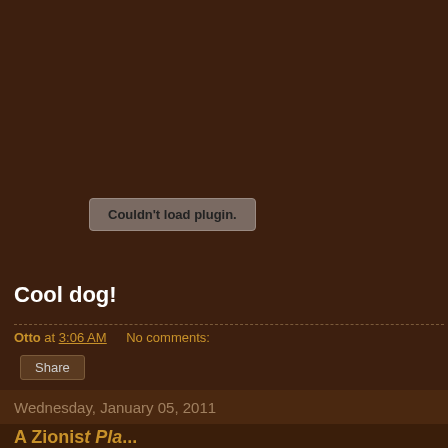[Figure (other): Embedded plugin area showing 'Couldn't load plugin.' error message in a grey rounded rectangle on dark brown background]
Cool dog!
Otto at 3:06 AM    No comments:
Share
Wednesday, January 05, 2011
A Zionist Pla...